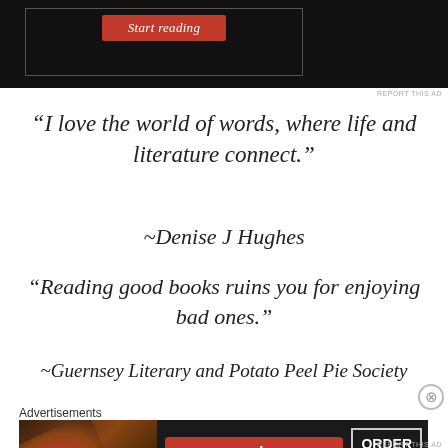[Figure (screenshot): Advertisement banner with dark background showing a 'Start reading' red button inside a bordered box]
REPORT THIS AD
“I love the world of words, where life and literature connect.”
~Denise J Hughes
“Reading good books ruins you for enjoying bad ones.”
~Guernsey Literary and Potato Peel Pie Society
[Figure (screenshot): Seamless food delivery advertisement banner with pizza image, seamless logo, and ORDER NOW button]
Advertisements
REPORT THIS AD